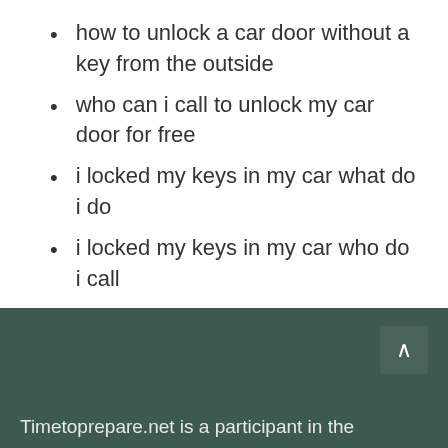how to unlock a car door without a key from the outside
who can i call to unlock my car door for free
i locked my keys in my car what do i do
i locked my keys in my car who do i call
unlock car door
Survival
Timetoprepare.net is a participant in the